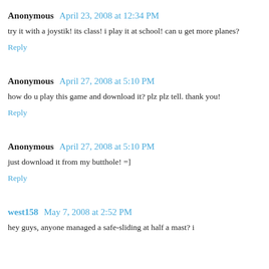Anonymous April 23, 2008 at 12:34 PM
try it with a joystik! its class! i play it at school! can u get more planes?
Reply
Anonymous April 27, 2008 at 5:10 PM
how do u play this game and download it? plz plz tell. thank you!
Reply
Anonymous April 27, 2008 at 5:10 PM
just download it from my butthole! =]
Reply
west158 May 7, 2008 at 2:52 PM
hey guys, anyone managed a safe-landing at half a mast? i...